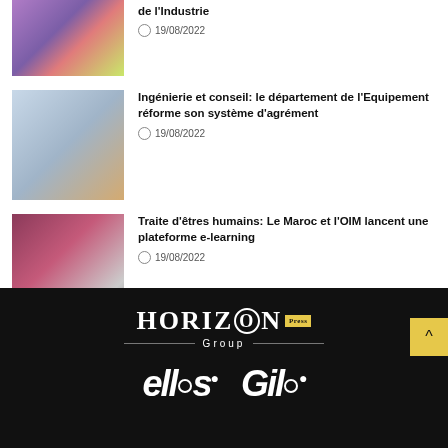[Figure (photo): Colorful school backpacks displayed on a table]
de l'Industrie
19/08/2022
[Figure (photo): People working on documents/blueprints at a table]
Ingénierie et conseil: le département de l'Equipement réforme son système d'agrément
19/08/2022
[Figure (photo): Person using a laptop with an online meeting/course on screen]
Traite d'êtres humains: Le Maroc et l'OIM lancent une plateforme e-learning
19/08/2022
[Figure (logo): Horizon Press Group logo in white on black background]
[Figure (logo): Large stylized logos at the bottom on black background]